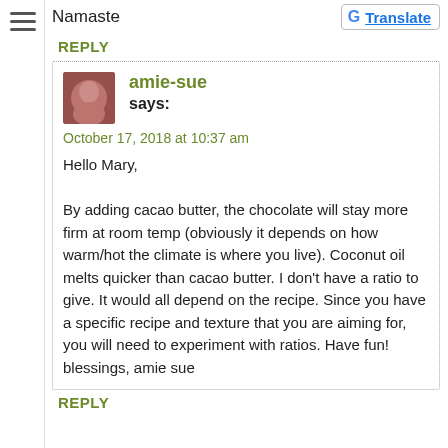Namaste
REPLY
amie-sue says:
October 17, 2018 at 10:37 am
Hello Mary,

By adding cacao butter, the chocolate will stay more firm at room temp (obviously it depends on how warm/hot the climate is where you live). Coconut oil melts quicker than cacao butter. I don't have a ratio to give. It would all depend on the recipe. Since you have a specific recipe and texture that you are aiming for, you will need to experiment with ratios. Have fun! blessings, amie sue
REPLY